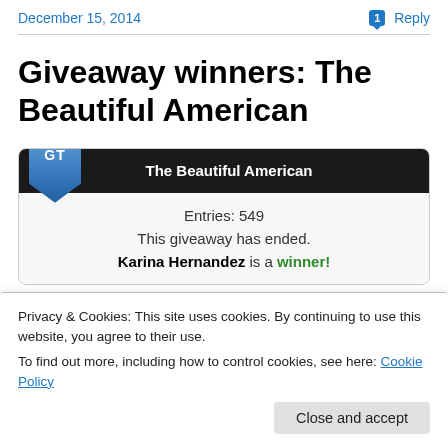December 15, 2014    1 Reply
Giveaway winners: The Beautiful American
[Figure (screenshot): Giveaway widget for 'The Beautiful American' showing Entries: 549, This giveaway has ended, Karina Hernandez is a winner!]
Privacy & Cookies: This site uses cookies. By continuing to use this website, you agree to their use.
To find out more, including how to control cookies, see here: Cookie Policy